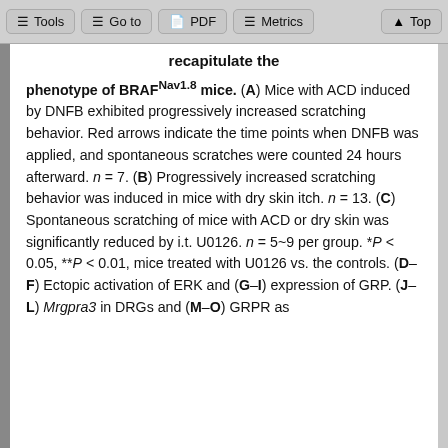Tools  Go to  PDF  Metrics  Top
recapitulate the phenotype of BRAFNav1.8 mice. (A) Mice with ACD induced by DNFB exhibited progressively increased scratching behavior. Red arrows indicate the time points when DNFB was applied, and spontaneous scratches were counted 24 hours afterward. n = 7. (B) Progressively increased scratching behavior was induced in mice with dry skin itch. n = 13. (C) Spontaneous scratching of mice with ACD or dry skin was significantly reduced by i.t. U0126. n = 5~9 per group. *P < 0.05, **P < 0.01, mice treated with U0126 vs. the controls. (D–F) Ectopic activation of ERK and (G–I) expression of GRP. (J–L) Mrgpra3 in DRGs and (M–O) GRPR as